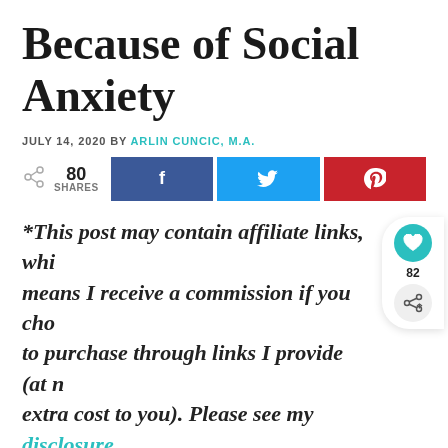Because of Social Anxiety
JULY 14, 2020 BY ARLIN CUNCIC, M.A.
[Figure (infographic): Social share bar showing 80 shares, with Facebook (blue), Twitter (light blue), and Pinterest (red) share buttons]
*This post may contain affiliate links, which means I receive a commission if you choose to purchase through links I provide (at no extra cost to you). Please see my disclosure policy. If you need help finding a mental